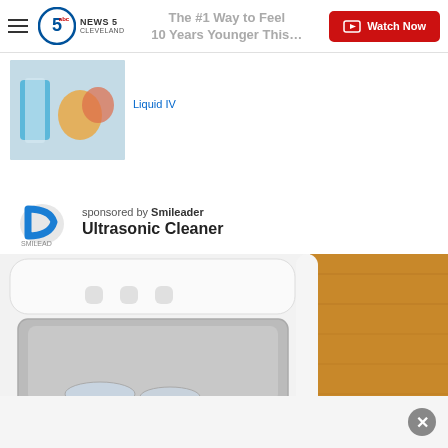News 5 Cleveland — Watch Now
The #1 Way to Feel 10 Years Younger This Summer
Liquid IV
[Figure (photo): Product photo thumbnail of Liquid IV hydration product with fruits]
sponsored by Smileader
Ultrasonic Cleaner
[Figure (photo): Smileader logo — blue D-shaped icon with brand name]
[Figure (photo): Ultrasonic cleaner product image showing white device with transparent lid on wooden surface, with plant in background]